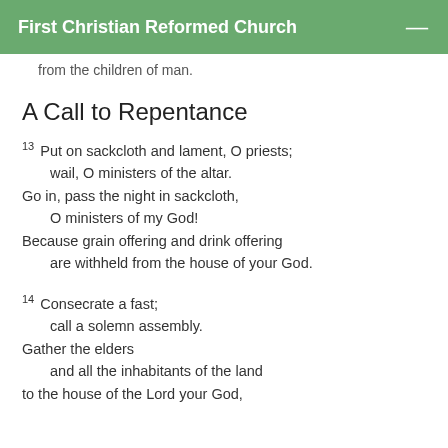First Christian Reformed Church
from the children of man.
A Call to Repentance
13 Put on sackcloth and lament, O priests;
    wail, O ministers of the altar.
Go in, pass the night in sackcloth,
    O ministers of my God!
Because grain offering and drink offering
    are withheld from the house of your God.
14 Consecrate a fast;
    call a solemn assembly.
Gather the elders
    and all the inhabitants of the land
to the house of the Lord your God,